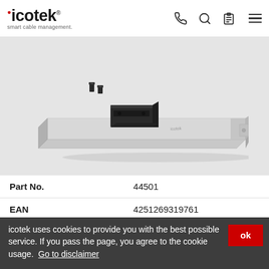icotek smart cable management.
[Figure (photo): Product photo of icotek cable management rail/bracket component, a long flat metal rail with a black sliding clamp mechanism and screws, shown in 3D perspective view against a light gray background.]
| Part No. | 44501 |
| EAN | 4251269319761 |
| Package quantity | 1 |
| Length | 488 mm |
icotek uses cookies to provide you with the best possible service. If you pass the page, you agree to the cookie usage. Go to disclaimer